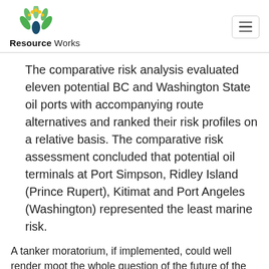Resource Works
The comparative risk analysis evaluated eleven potential BC and Washington State oil ports with accompanying route alternatives and ranked their risk profiles on a relative basis. The comparative risk assessment concluded that potential oil terminals at Port Simpson, Ridley Island (Prince Rupert), Kitimat and Port Angeles (Washington) represented the least marine risk.
A tanker moratorium, if implemented, could well render moot the whole question of the future of the